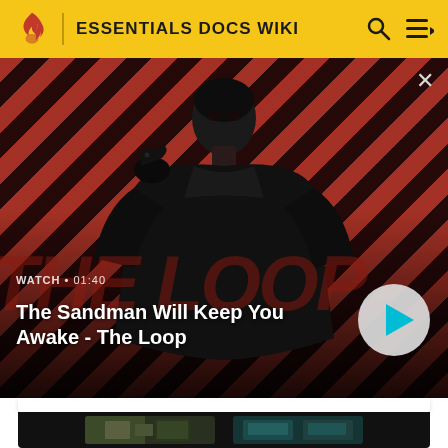ESSENTIALS DOCS WIKI
[Figure (screenshot): Video thumbnail showing The Sandman character in black coat with a raven on shoulder, against a red diagonal striped background. Large 'THE LOOP' text behind. Watch label '01:40'. Title: 'The Sandman Will Keep You Awake - The Loop'. Play button visible.]
[Figure (screenshot): Second video card showing two small game/show screenshot thumbnails side by side on black background.]